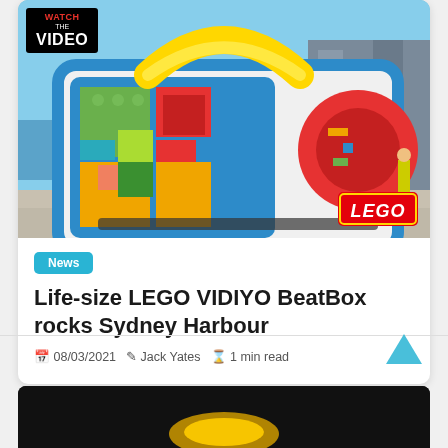[Figure (photo): Large colorful life-size LEGO VIDIYO BeatBox sculpture shaped like a boombox/ghetto blaster with multicolored LEGO bricks, placed outdoors at Sydney Harbour. A 'WATCH THE VIDEO' badge is in the top-left corner and the LEGO logo in the bottom-right corner.]
News
Life-size LEGO VIDIYO BeatBox rocks Sydney Harbour
08/03/2021  Jack Yates  1 min read
[Figure (photo): Bottom of page showing partial view of a dark image with a yellow/gold element, partially visible second article card.]